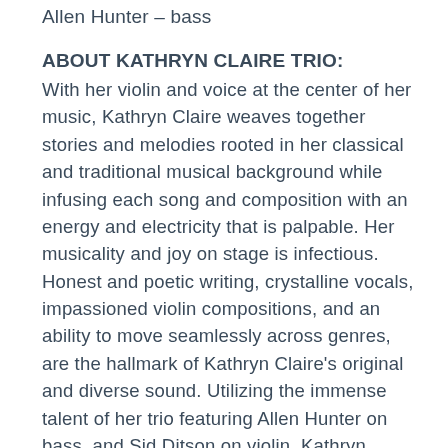Allen Hunter – bass
ABOUT KATHRYN CLAIRE TRIO:
With her violin and voice at the center of her music, Kathryn Claire weaves together stories and melodies rooted in her classical and traditional musical background while infusing each song and composition with an energy and electricity that is palpable. Her musicality and joy on stage is infectious. Honest and poetic writing, crystalline vocals, impassioned violin compositions, and an ability to move seamlessly across genres, are the hallmark of Kathryn Claire's original and diverse sound. Utilizing the immense talent of her trio featuring Allen Hunter on bass, and Sid Ditson on violin, Kathryn Claire delivers her own unique brand of harmonic indie-folk music.